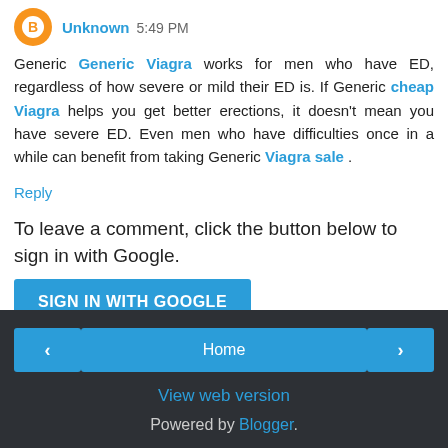Unknown 5:49 PM
Generic Generic Viagra works for men who have ED, regardless of how severe or mild their ED is. If Generic cheap Viagra helps you get better erections, it doesn't mean you have severe ED. Even men who have difficulties once in a while can benefit from taking Generic Viagra sale .
Reply
To leave a comment, click the button below to sign in with Google.
SIGN IN WITH GOOGLE
Home | View web version | Powered by Blogger.